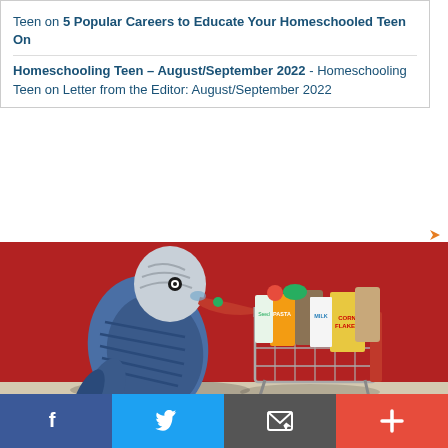Teen on 5 Popular Careers to Educate Your Homeschooled Teen On
Homeschooling Teen – August/September 2022 - Homeschooling Teen on Letter from the Editor: August/September 2022
[Figure (photo): A blue budgerigar/parakeet bird standing next to a small metal shopping cart filled with miniature grocery items, against a red background. Advertisement for Port Orchard Parrots Plus.]
Port Orchard Parrots Plus
Ad  Port Orchard Parrots Plus
[Figure (infographic): Social sharing bar with Facebook, Twitter, Email/envelope, and plus buttons]